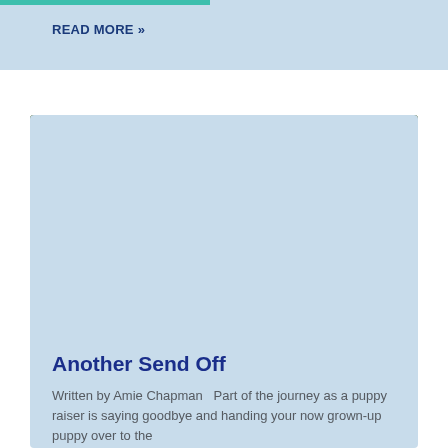READ MORE »
[Figure (photo): A person wearing a navy blue t-shirt sitting on a wooden deck, petting a white/cream golden retriever or Labrador puppy. The dog is lying on the deck and appears happy with its mouth open. There is a wire fence and green grass visible in the background.]
Another Send Off
Written by Amie Chapman   Part of the journey as a puppy raiser is saying goodbye and handing your now grown-up puppy over to the